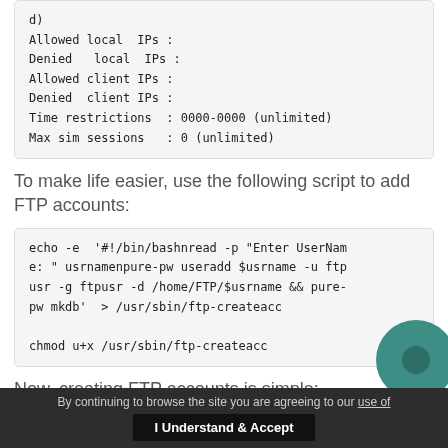d)
Allowed local  IPs :
Denied   local  IPs :
Allowed client IPs :
Denied  client IPs :
Time restrictions  : 0000-0000 (unlimited)
Max sim sessions   : 0 (unlimited)
To make life easier, use the following script to add FTP accounts:
echo -e  '#!/bin/bashnread -p "Enter UserName: " usrnamenpure-pw useradd $usrname -u ftpusr -g ftpusr -d /home/FTP/$usrname && pure-pw mkdb'  > /usr/sbin/ftp-createacc

chmod u+x /usr/sbin/ftp-createacc
Now, creating FTP accounts is simple:
By continuing to browse the site you are agreeing to our use of
I Understand & Accept